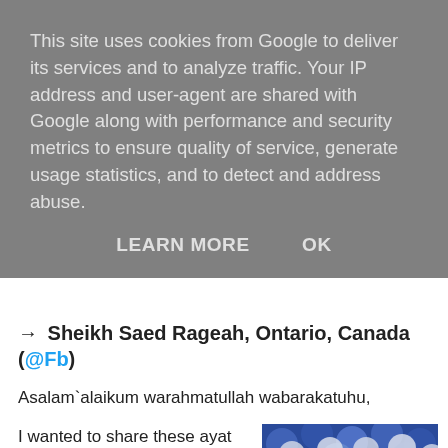This site uses cookies from Google to deliver its services and to analyze traffic. Your IP address and user-agent are shared with Google along with performance and security metrics to ensure quality of service, generate usage statistics, and to detect and address abuse.
LEARN MORE   OK
→ Sheikh Saed Rageah, Ontario, Canada (@Fb)
Asalam`alaikum warahmatullah wabarakatuhu,
I wanted to share these ayat that influenced me and changed me to who I am. The ayat are also applicable today and will affect all our lives. There are five ayaat; I couldn't understand them at first
[Figure (photo): Photo of Sheikh Saed Rageah speaking at a podium, wearing white Islamic attire and kufi cap, with blue and white balloons in the background]